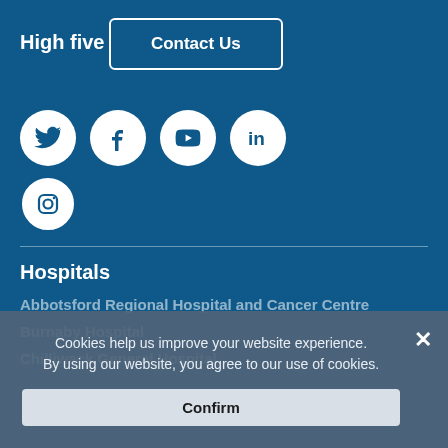High five
Contact Us
[Figure (illustration): Social media icons in white circles: Twitter, Facebook, YouTube, LinkedIn, Instagram on a dark blue background]
Hospitals
Abbotsford Regional Hospital and Cancer Centre
Burnaby Hospital
Chilliwack General Hospital
Cookies help us improve your website experience. By using our website, you agree to our use of cookies.
Confirm